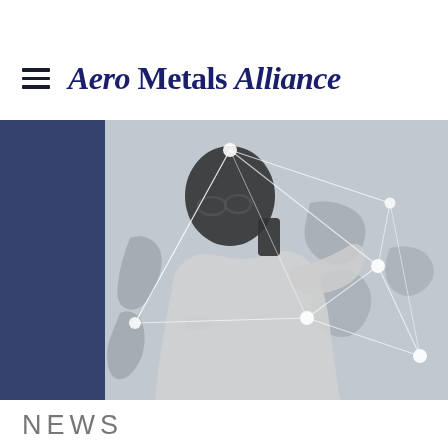[Figure (logo): Search icon (magnifying glass)]
Aero Metals Alliance
[Figure (photo): Black and white photo of a person on the phone overlaid with a world connectivity network map showing nodes and connecting lines on a light grey background]
NEWS